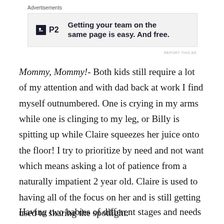Advertisements
[Figure (other): Advertisement banner for P2 product: 'Getting your team on the same page is easy. And free.' with P2 logo and REPORT THIS AD link]
Mommy, Mommy!- Both kids still require a lot of my attention and with dad back at work I find myself outnumbered. One is crying in my arms while one is clinging to my leg, or Billy is spitting up while Claire squeezes her juice onto the floor! I try to prioritize by need and not want which means asking a lot of patience from a naturally impatient 2 year old. Claire is used to having all of the focus on her and is still getting used to sharing the spotlight.
Having two babies of different stages and needs can be